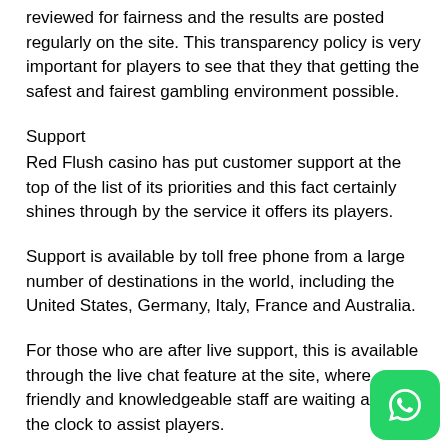reviewed for fairness and the results are posted regularly on the site. This transparency policy is very important for players to see that they that getting the safest and fairest gambling environment possible.
Support
Red Flush casino has put customer support at the top of the list of its priorities and this fact certainly shines through by the service it offers its players.
Support is available by toll free phone from a large number of destinations in the world, including the United States, Germany, Italy, France and Australia.
For those who are after live support, this is available through the live chat feature at the site, where friendly and knowledgeable staff are waiting around the clock to assist players.
[Figure (logo): WhatsApp logo icon — white phone/chat bubble on green rounded square background]